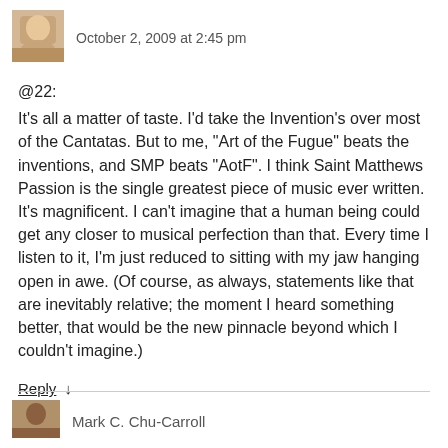[Figure (photo): Small avatar thumbnail of a person or pet, warm tones]
October 2, 2009 at 2:45 pm
@22:
It’s all a matter of taste. I’d take the Invention’s over most of the Cantatas. But to me, “Art of the Fugue” beats the inventions, and SMP beats “AotF”. I think Saint Matthews Passion is the single greatest piece of music ever written. It’s magnificent. I can’t imagine that a human being could get any closer to musical perfection than that. Every time I listen to it, I’m just reduced to sitting with my jaw hanging open in awe. (Of course, as always, statements like that are inevitably relative; the moment I heard something better, that would be the new pinnacle beyond which I couldn’t imagine.)
Reply ↓
[Figure (photo): Small avatar thumbnail, warm brown tones]
Mark C. Chu-Carroll